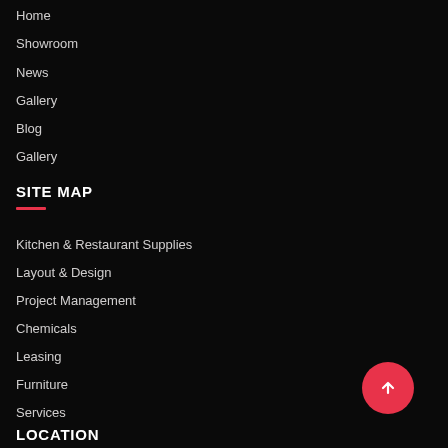Home
Showroom
News
Gallery
Blog
Gallery
SITE MAP
Kitchen & Restaurant Supplies
Layout & Design
Project Management
Chemicals
Leasing
Furniture
Services
LOCATION